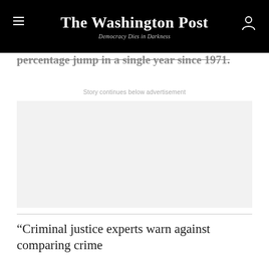The Washington Post
Democracy Dies in Darkness
percentage jump in a single year since 1971.
Story continues below advertisement
[Figure (other): Advertisement placeholder box with light gray background]
“Criminal justice experts warn against comparing crime